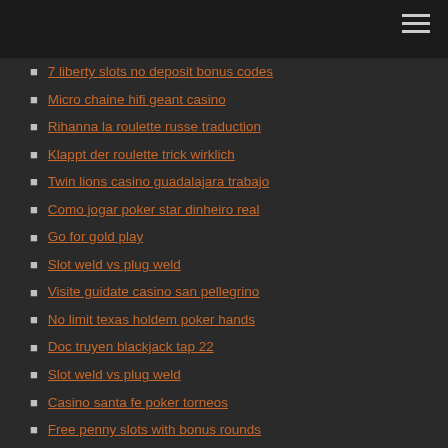7 liberty slots no deposit bonus codes
Micro chaine hifi geant casino
Rihanna la roulette russe traduction
Klappt der roulette trick wirklich
Twin lions casino guadalajara trabajo
Como jogar poker star dinheiro real
Go for gold play
Slot weld vs plug weld
Visite guidate casino san pellegrino
No limit texas holdem poker hands
Doc truyen blackjack tap 22
Slot weld vs plug weld
Casino santa fe poker torneos
Free penny slots with bonus rounds